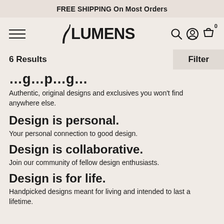FREE SHIPPING On Most Orders
[Figure (logo): Lumens logo with hamburger menu, search, account, and cart icons]
6 Results   Filter
…g…p…g…
Authentic, original designs and exclusives you won't find anywhere else.
Design is personal.
Your personal connection to good design.
Design is collaborative.
Join our community of fellow design enthusiasts.
Design is for life.
Handpicked designs meant for living and intended to last a lifetime.